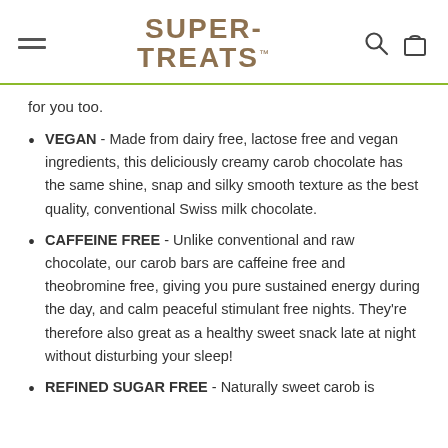SUPER-TREATS
for you too.
VEGAN - Made from dairy free, lactose free and vegan ingredients, this deliciously creamy carob chocolate has the same shine, snap and silky smooth texture as the best quality, conventional Swiss milk chocolate.
CAFFEINE FREE - Unlike conventional and raw chocolate, our carob bars are caffeine free and theobromine free, giving you pure sustained energy during the day, and calm peaceful stimulant free nights. They're therefore also great as a healthy sweet snack late at night without disturbing your sleep!
REFINED SUGAR FREE - Naturally sweet carob is